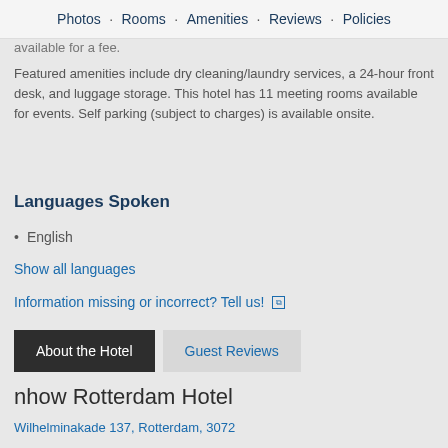Photos · Rooms · Amenities · Reviews · Policies
available for a fee.
Featured amenities include dry cleaning/laundry services, a 24-hour front desk, and luggage storage. This hotel has 11 meeting rooms available for events. Self parking (subject to charges) is available onsite.
Languages Spoken
English
Show all languages
Information missing or incorrect? Tell us!
About the Hotel
Guest Reviews
nhow Rotterdam Hotel
Wilhelminakade 137, Rotterdam, 3072